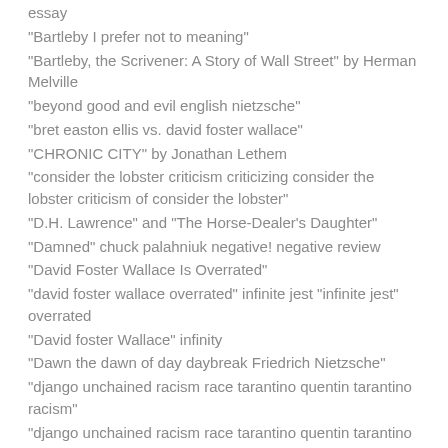essay
"Bartleby I prefer not to meaning"
"Bartleby, the Scrivener: A Story of Wall Street" by Herman Melville
"beyond good and evil english nietzsche"
"bret easton ellis vs. david foster wallace"
"CHRONIC CITY" by Jonathan Lethem
"consider the lobster criticism criticizing consider the lobster criticism of consider the lobster"
"D.H. Lawrence" and "The Horse-Dealer's Daughter"
"Damned" chuck palahniuk negative! negative review
"David Foster Wallace Is Overrated"
"david foster wallace overrated" infinite jest "infinite jest" overrated
"David foster Wallace" infinity
"Dawn the dawn of day daybreak Friedrich Nietzsche"
"django unchained racism race tarantino quentin tarantino racism"
"django unchained racism race tarantino quentin tarantino